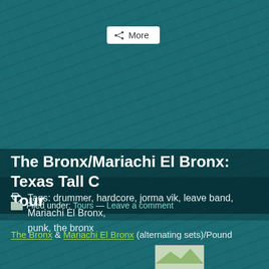[Figure (screenshot): Teal/dark teal wood-grain textured background covering full page]
More
Tags: drummer, hardcore, jorma vik, leave band, Mariachi El Bronx, punk, the bronx
The Bronx/Mariachi El Bronx: Texas Tall C Tour
Filed under: Tours — Leave a comment
The Bronx & Mariachi El Bronx (alternating sets)/Pound